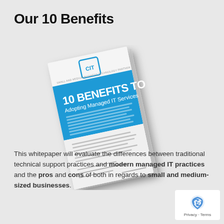Our 10 Benefits
[Figure (illustration): A tilted brochure/whitepaper cover showing '10 BENEFITS TO Adopting Managed IT Services' with a blue header band and CIT logo]
This whitepaper will evaluate the differences between traditional technical support practices and modern managed IT practices and the pros and cons of both in regards to small and medium-sized businesses.